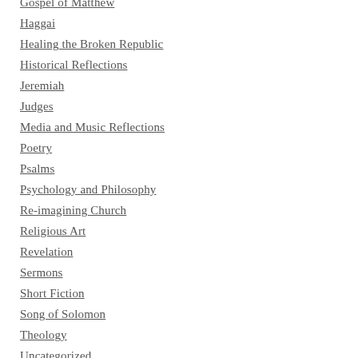Gospel of Matthew
Haggai
Healing the Broken Republic
Historical Reflections
Jeremiah
Judges
Media and Music Reflections
Poetry
Psalms
Psychology and Philosophy
Re-imagining Church
Religious Art
Revelation
Sermons
Short Fiction
Song of Solomon
Theology
Uncategorized